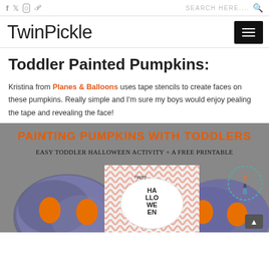f  twitter  instagram  pinterest    SEARCH HERE....  🔍
TwinPickle
Toddler Painted Pumpkins:
Kristina from Planes & Balloons uses tape stencils to create faces on these pumpkins. Really simple and I'm sure my boys would enjoy pealing the tape and revealing the face!
[Figure (photo): Image showing 'Painting Pumpkins with Toddlers - Easy Toddler Halloween Activity + a Free Printable' with two painted pumpkins with orange eyes and a Happy Halloween sign in the middle. The Planes & Balloons logo is visible in the top right.]